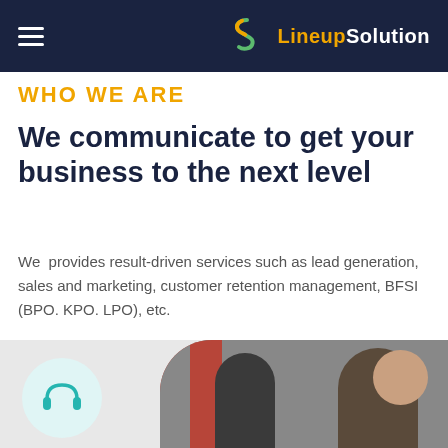LineupSolution
WHO WE ARE
We communicate to get your business to the next level
We provides result-driven services such as lead generation, sales and marketing, customer retention management, BFSI (BPO. KPO. LPO), etc.
Discover More
[Figure (photo): People at work in an office with headset icon visible in a circular frame at the bottom left]